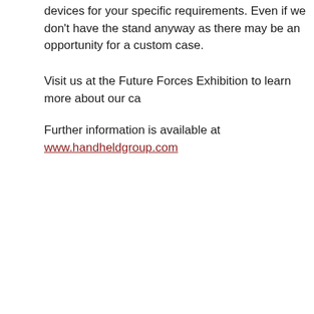devices for your specific requirements. Even if we don't have the stand anyway as there may be an opportunity for a custom case.
Visit us at the Future Forces Exhibition to learn more about our ca
Further information is available at www.handheldgroup.com